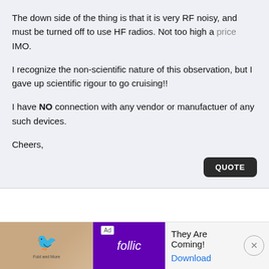The down side of the thing is that it is very RF noisy, and must be turned off to use HF radios. Not too high a price IMO.
I recognize the non-scientific nature of this observation, but I gave up scientific rigour to go cruising!!
I have NO connection with any vendor or manufactuer of any such devices.
Cheers,
[Figure (screenshot): QUOTE button — dark rounded rectangle with white bold text]
[Figure (infographic): Advertisement bar at the bottom: Ad label, decorative image panel, purple Follic logo, They Are Coming! tagline, Download link, close X button]